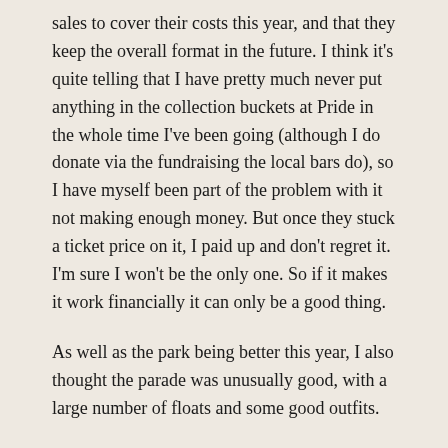sales to cover their costs this year, and that they keep the overall format in the future. I think it's quite telling that I have pretty much never put anything in the collection buckets at Pride in the whole time I've been going (although I do donate via the fundraising the local bars do), so I have myself been part of the problem with it not making enough money. But once they stuck a ticket price on it, I paid up and don't regret it. I'm sure I won't be the only one. So if it makes it work financially it can only be a good thing.
As well as the park being better this year, I also thought the parade was unusually good, with a large number of floats and some good outfits.
The street parties in St James's Street were okaaaay, but I found them over-crowded and afflicted by some of the pikey street-drinker types I mentioned earlier.
Chris spent most of the street party doing underwear modelling in a shop window as a favour to some friends, so